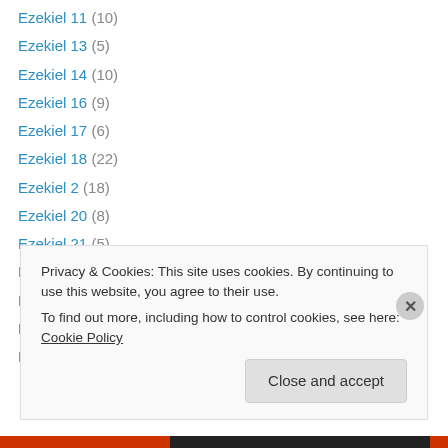Ezekiel 11 (10)
Ezekiel 13 (5)
Ezekiel 14 (10)
Ezekiel 16 (9)
Ezekiel 17 (6)
Ezekiel 18 (22)
Ezekiel 2 (18)
Ezekiel 20 (8)
Ezekiel 21 (5)
Ezekiel 22 (6)
Ezekiel 25 (19)
Ezekiel 26 (6)
Ezekiel 27 (7)
Privacy & Cookies: This site uses cookies. By continuing to use this website, you agree to their use. To find out more, including how to control cookies, see here: Cookie Policy
Close and accept